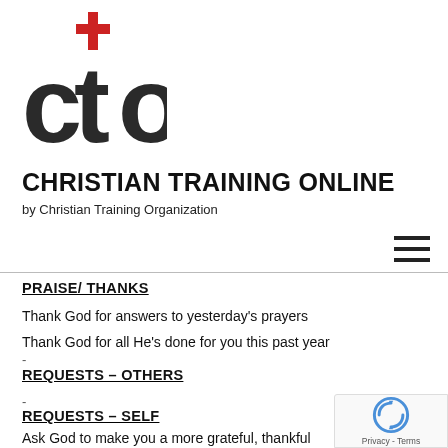[Figure (logo): CTO logo with red cross above the letter t in 'cto', bold lowercase letters in dark gray]
CHRISTIAN TRAINING ONLINE
by Christian Training Organization
PRAISE/ THANKS
Thank God for answers to yesterday's prayers
Thank God for all He's done for you this past year
-
REQUESTS – OTHERS
-
REQUESTS – SELF
Ask God to make you a more grateful, thankful person